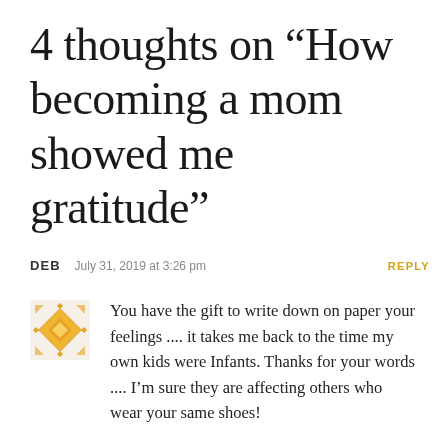4 thoughts on “How becoming a mom showed me gratitude”
DEB   July 31, 2019 at 3:26 pm
REPLY
You have the gift to write down on paper your feelings .... it takes me back to the time my own kids were Infants. Thanks for your words .... I’m sure they are affecting others who wear your same shoes!